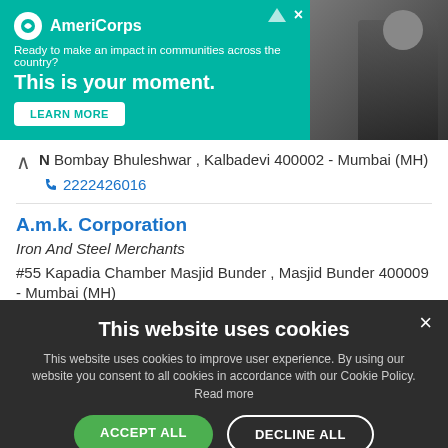[Figure (screenshot): AmeriCorps advertisement banner with teal background. Logo and text: 'Ready to make an impact in communities across the country? This is your moment.' with a LEARN MORE button and a photo of a person.]
N Bombay Bhuleshwar , Kalbadevi 400002 - Mumbai (MH)
2222426016
A.m.k. Corporation
Iron And Steel Merchants
#55 Kapadia Chamber Masjid Bunder , Masjid Bunder 400009 - Mumbai (MH)
9820433044
This website uses cookies
This website uses cookies to improve user experience. By using our website you consent to all cookies in accordance with our Cookie Policy. Read more
ACCEPT ALL
DECLINE ALL
SHOW DETAILS
POWERED BY COOKIE-SCRIPT